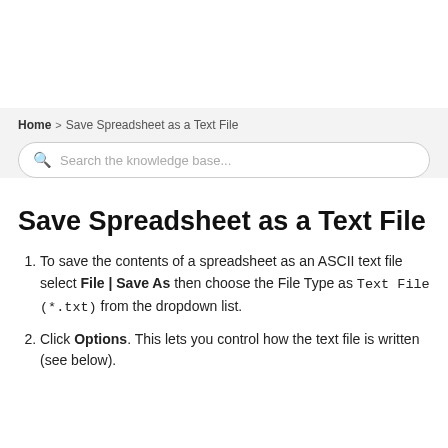Home > Save Spreadsheet as a Text File
Save Spreadsheet as a Text File
To save the contents of a spreadsheet as an ASCII text file select File | Save As then choose the File Type as Text File (*.txt) from the dropdown list.
Click Options. This lets you control how the text file is written (see below).